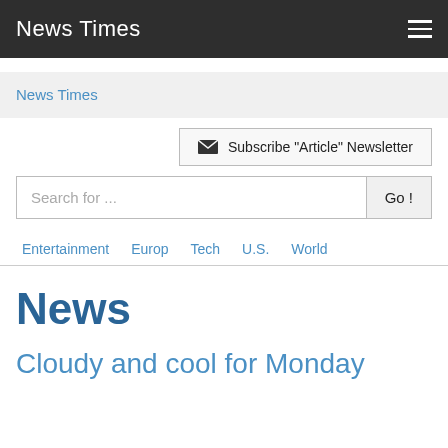News Times
News Times
✉ Subscribe "Article" Newsletter
Search for ...
Entertainment
Europ
Tech
U.S.
World
News
Cloudy and cool for Monday